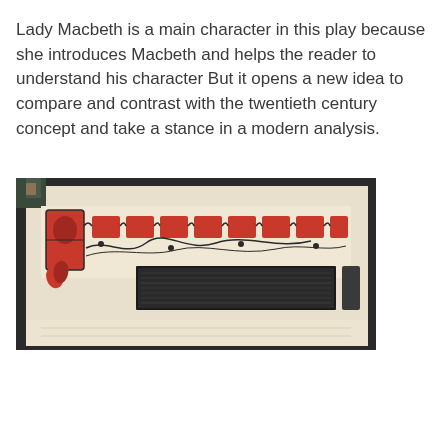Lady Macbeth is a main character in this play because she introduces Macbeth and helps the reader to understand his character But it opens a new idea to compare and contrast with the twentieth century concept and take a stance in a modern analysis.
[Figure (photo): A photograph of an open antique book showing decorative illuminated text with red ornamental lettering and black floral border design on a cream-colored page, with a dark book cover visible.]